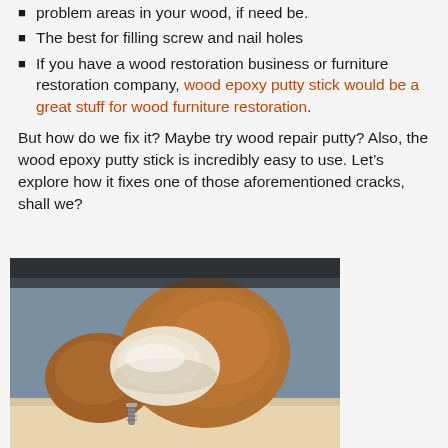problem areas in your wood, if need be.
The best for filling screw and nail holes
If you have a wood restoration business or furniture restoration company, wood epoxy putty stick would be a great stuff for wood furniture restoration.
But how do we fix it? Maybe try wood repair putty? Also, the wood epoxy putty stick is incredibly easy to use. Let’s explore how it fixes one of those aforementioned cracks, shall we?
[Figure (photo): A wooden object (appears to be a small wooden tool or plug) with a white/cream colored putty or epoxy material wrapped around it, resting on a surface with a screw visible underneath, blue background.]